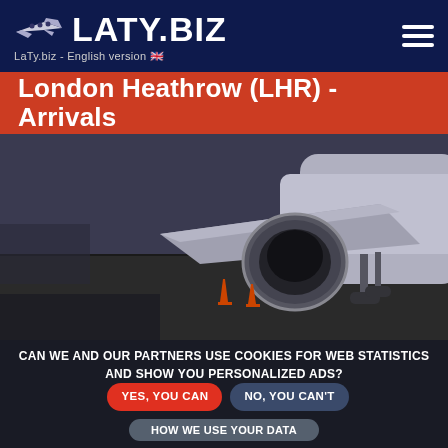LATY.BIZ — LaTy.biz - English version
London Heathrow (LHR) - Arrivals
[Figure (photo): Close-up photograph of a commercial airplane on the tarmac at London Heathrow Airport. The underbelly and jet engine are visible with orange safety cones on the ground nearby.]
CAN WE AND OUR PARTNERS USE COOKIES FOR WEB STATISTICS AND SHOW YOU PERSONALIZED ADS? YES, YOU CAN   NO, YOU CAN'T   HOW WE USE YOUR DATA